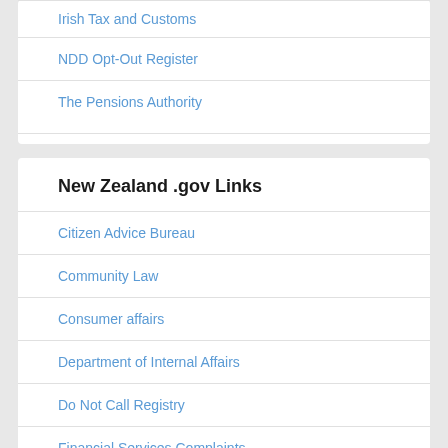Irish Tax and Customs
NDD Opt-Out Register
The Pensions Authority
New Zealand .gov Links
Citizen Advice Bureau
Community Law
Consumer affairs
Department of Internal Affairs
Do Not Call Registry
Financial Services Complaints
Immigration New Zealand